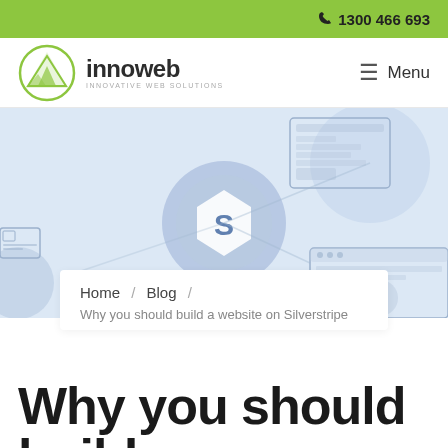1300 466 693
[Figure (logo): Innoweb logo with mountain/peak graphic and text 'innoweb INNOVATIVE WEB SOLUTIONS']
[Figure (illustration): Hero banner with light blue/periwinkle background showing Silverstripe CMS hexagonal logo in center circle, surrounded by web interface wireframe illustrations and icons]
Home / Blog / Why you should build a website on Silverstripe
Why you should build